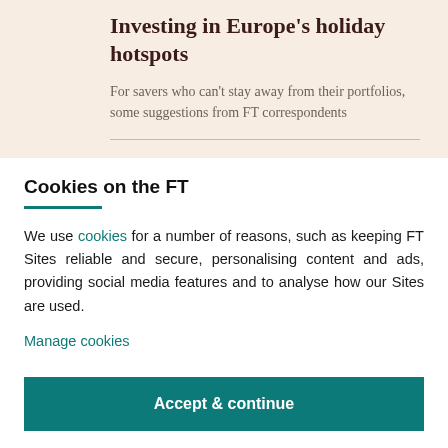Investing in Europe's holiday hotspots
For savers who can't stay away from their portfolios, some suggestions from FT correspondents
Cookies on the FT
We use cookies for a number of reasons, such as keeping FT Sites reliable and secure, personalising content and ads, providing social media features and to analyse how our Sites are used.
Manage cookies
Accept & continue